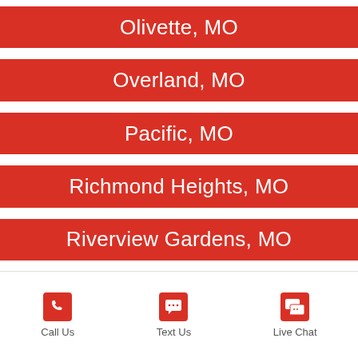Olivette, MO
Overland, MO
Pacific, MO
Richmond Heights, MO
Riverview Gardens, MO
Call Us   Text Us   Live Chat